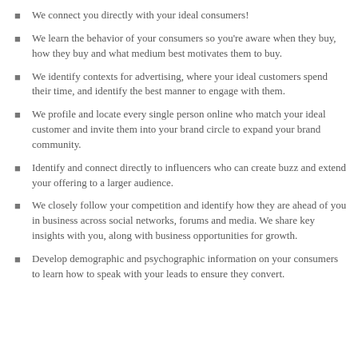We connect you directly with your ideal consumers!
We learn the behavior of your consumers so you're aware when they buy, how they buy and what medium best motivates them to buy.
We identify contexts for advertising, where your ideal customers spend their time, and identify the best manner to engage with them.
We profile and locate every single person online who match your ideal customer and invite them into your brand circle to expand your brand community.
Identify and connect directly to influencers who can create buzz and extend your offering to a larger audience.
We closely follow your competition and identify how they are ahead of you in business across social networks, forums and media. We share key insights with you, along with business opportunities for growth.
Develop demographic and psychographic information on your consumers to learn how to speak with your leads to ensure they convert.